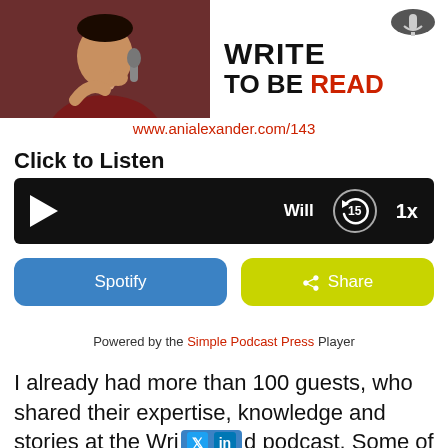[Figure (photo): Photo of a man in a dark red shirt near a microphone, with 'WRITE TO BE READ' branding on the right side. URL www.anialexander.com/143 below.]
Click to Listen
[Figure (screenshot): Audio player widget with black background, play button on left, 'Will' text, replay 15 seconds button, and 1x speed button on right.]
[Figure (screenshot): Two buttons: blue 'Spotify' button and yellow-green 'Share' button with share icon.]
Powered by the Simple Podcast Press Player
I already had more than 100 guests, who shared their expertise, knowledge and stories at the Write to Be Read podcast. Some of those interviews have been very